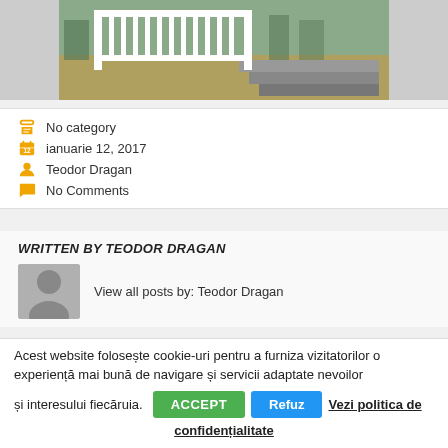[Figure (photo): Photo of a white wooden fence/railing structure with stone steps, outdoor setting. Watermark text 'folosdre-lemn.ro' visible at top.]
No category
ianuarie 12, 2017
Teodor Dragan
No Comments
WRITTEN BY TEODOR DRAGAN
View all posts by: Teodor Dragan
Acest website folosește cookie-uri pentru a furniza vizitatorilor o experiență mai bună de navigare și servicii adaptate nevoilor și interesului fiecăruia.
ACCEPT  Refuz  Vezi politica de confidențialitate